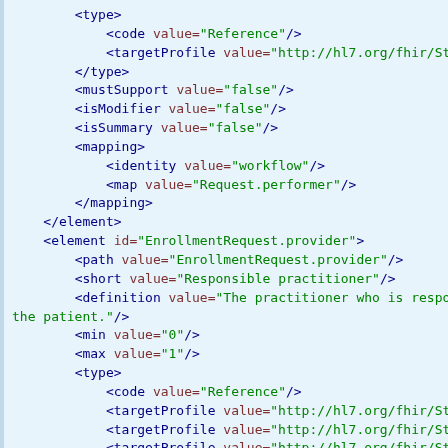XML FHIR StructureDefinition code snippet showing EnrollmentRequest.provider element definition